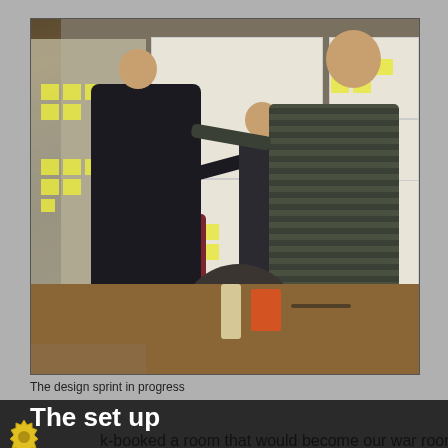[Figure (photo): A design sprint in progress. Several people are gathered around a wall covered in large paper sheets with sticky notes (yellow post-its) and diagrams. One person on the left points at the wall, two people on the right discuss and gesture toward the wall. A seated person is visible at the bottom. A conference table is in the foreground.]
The design sprint in progress
The set up
k-booked a room that would become our war room